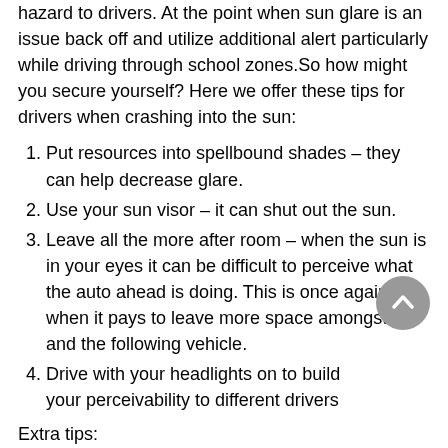hazard to drivers. At the point when sun glare is an issue back off and utilize additional alert particularly while driving through school zones.So how might you secure yourself? Here we offer these tips for drivers when crashing into the sun:
Put resources into spellbound shades – they can help decrease glare.
Use your sun visor – it can shut out the sun.
Leave all the more after room – when the sun is in your eyes it can be difficult to perceive what the auto ahead is doing. This is once again when it pays to leave more space amongst you and the following vehicle.
Drive with your headlights on to build your perceivability to different drivers
Extra tips:
Keep your windshield perfect, all around
Check your windshield for setting and breaks